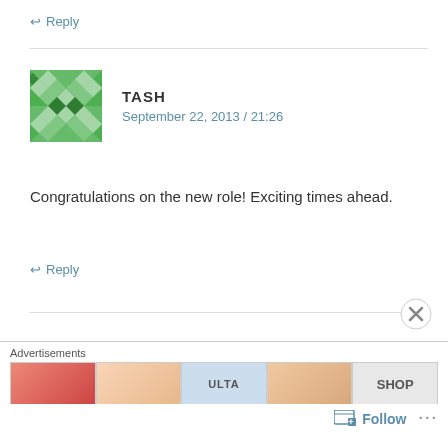↩ Reply
TASH
September 22, 2013 / 21:26
Congratulations on the new role! Exciting times ahead.
↩ Reply
Leave a Reply
Your email address will not be published. Required fields are marked *
Advertisements